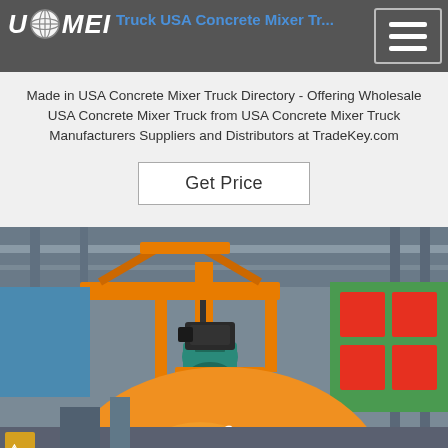USA Concrete Mixer Truck USA Concrete Mixer Tr...
Made in USA Concrete Mixer Truck Directory - Offering Wholesale USA Concrete Mixer Truck from USA Concrete Mixer Truck Manufacturers Suppliers and Distributors at TradeKey.com
[Figure (screenshot): Get Price button on a light gray background]
[Figure (photo): Industrial factory interior with orange JZM350 concrete mixer machine hanging from an overhead crane in a manufacturing facility, with Chinese text banner visible in background]